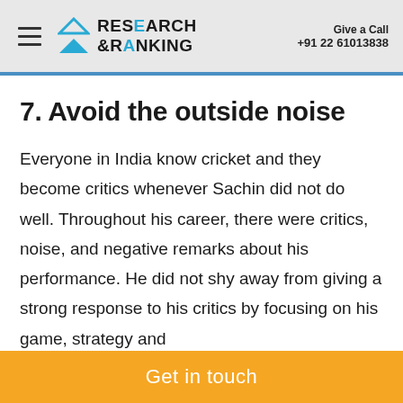Research & Ranking — Give a Call +91 22 61013838
7. Avoid the outside noise
Everyone in India know cricket and they become critics whenever Sachin did not do well. Throughout his career, there were critics, noise, and negative remarks about his performance. He did not shy away from giving a strong response to his critics by focusing on his game, strategy and
Get in touch